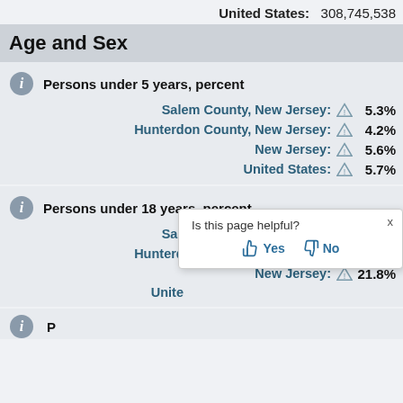United States: 308,745,538
Age and Sex
Persons under 5 years, percent
| Location | Value |
| --- | --- |
| Salem County, New Jersey: | 5.3% |
| Hunterdon County, New Jersey: | 4.2% |
| New Jersey: | 5.6% |
| United States: | 5.7% |
Persons under 18 years, percent
| Location | Value |
| --- | --- |
| Salem County, New Jersey: | 21.8% |
| Hunterdon County, New Jersey: | 18.8% |
| New Jersey: | 21.8% |
| United States: | (partial, covered by popup) |
Is this page helpful? Yes No